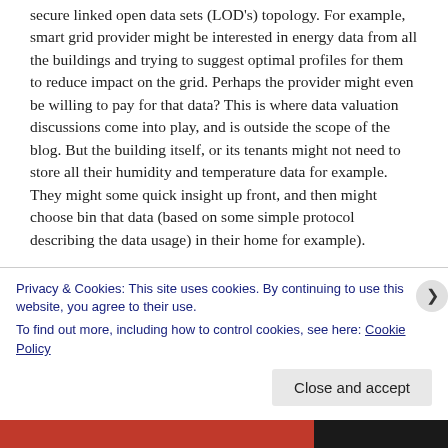secure linked open data sets (LOD's) topology. For example, smart grid provider might be interested in energy data from all the buildings and trying to suggest optimal profiles for them to reduce impact on the grid. Perhaps the provider might even be willing to pay for that data? This is where data valuation discussions come into play, and is outside the scope of the blog. But the building itself, or its tenants might not need to store all their humidity and temperature data for example. They might some quick insight up front, and then might choose bin that data (based on some simple protocol describing the data usage) in their home for example).
Privacy & Cookies: This site uses cookies. By continuing to use this website, you agree to their use.
To find out more, including how to control cookies, see here: Cookie Policy